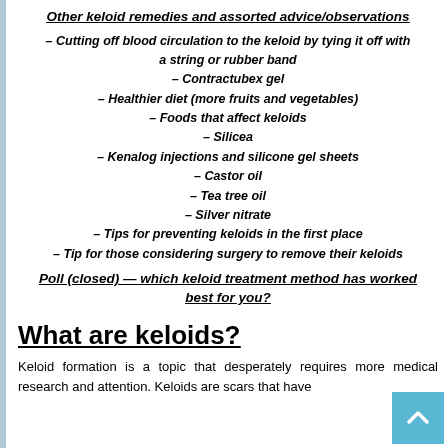Other keloid remedies and assorted advice/observations
– Cutting off blood circulation to the keloid by tying it off with a string or rubber band
– Contractubex gel
– Healthier diet (more fruits and vegetables)
– Foods that affect keloids
– Silicea
– Kenalog injections and silicone gel sheets
– Castor oil
– Tea tree oil
– Silver nitrate
– Tips for preventing keloids in the first place
– Tip for those considering surgery to remove their keloids
Poll (closed) — which keloid treatment method has worked best for you?
What are keloids?
Keloid formation is a topic that desperately requires more medical research and attention. Keloids are scars that have